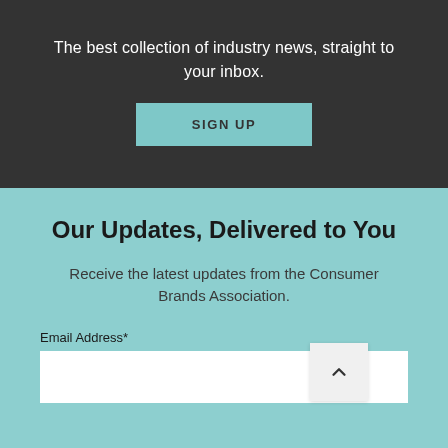The best collection of industry news, straight to your inbox.
SIGN UP
Our Updates, Delivered to You
Receive the latest updates from the Consumer Brands Association.
Email Address*